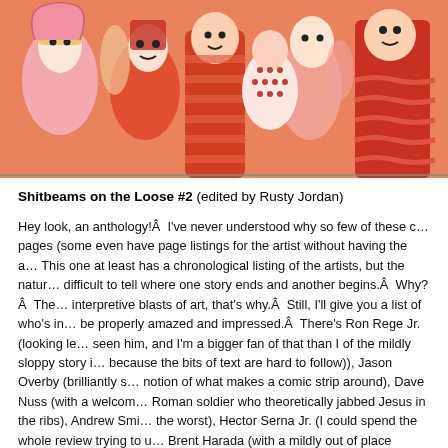[Figure (illustration): Colorful illustrated artwork showing a crowded scene of stylized cartoon figures with bold outlines in orange, red, pink, and yellow tones. The figures are densely packed with abstract and expressive faces and bodies in a flat graphic style.]
Shitbeams on the Loose #2 (edited by Rusty Jordan)
Hey look, an anthology!Â  I've never understood why so few of these c… pages (some even have page listings for the artist without having the a… This one at least has a chronological listing of the artists, but the natur… difficult to tell where one story ends and another begins.Â  Why?Â  The… interpretive blasts of art, that's why.Â  Still, I'll give you a list of who's in… be properly amazed and impressed.Â  There's Ron Rege Jr.(looking le… seen him, and I'm a bigger fan of that than I of the mildly sloppy story i… because the bits of text are hard to follow)), Jason Overby (brilliantly s… notion of what makes a comic strip around), Dave Nuss (with a welcom… Roman soldier who theoretically jabbed Jesus in the ribs), Andrew Smi… the worst), Hector Serna Jr. (I could spend the whole review trying to u… Brent Harada (with a mildly out of place regular old story about searchi… stores), Robyn Jordan (a quiet piece about camping), John Hankiewicz… distinctive air in a sea of chaos), Grant Reynolds (with one of his more… that's saying something), Ayo Kuramoto & Amane Yamamoto (please p…